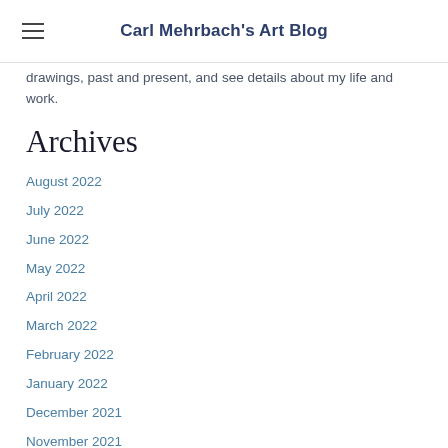Carl Mehrbach's Art Blog
drawings, past and present, and see details about my life and work.
Archives
August 2022
July 2022
June 2022
May 2022
April 2022
March 2022
February 2022
January 2022
December 2021
November 2021
October 2021
September 2021
August 2021
July 2021